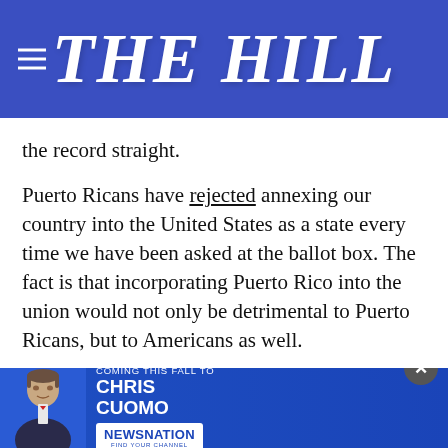THE HILL
the record straight.
Puerto Ricans have rejected annexing our country into the United States as a state every time we have been asked at the ballot box. The fact is that incorporating Puerto Rico into the union would not only be detrimental to Puerto Ricans, but to Americans as well.
The United States Department of Justice (DOJ), correctly in my view, denied providing federal income taxpayer funds to the Commonwealth of Puerto Rico to hold a federally-sanctioned statehood "yes" or "no" referendum, and correctly pointed out that celebrating this decision is somehow akin to
[Figure (advertisement): Chris Cuomo Coming This Fall To NewsNation advertisement banner with photo of Chris Cuomo]